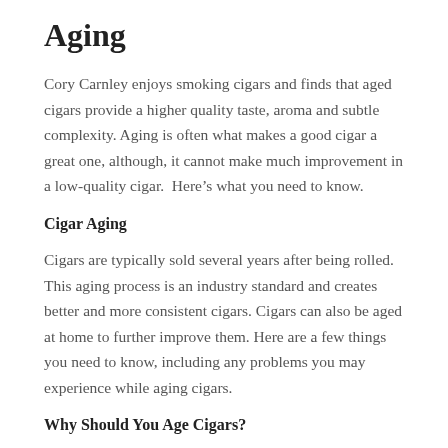Aging
Cory Carnley enjoys smoking cigars and finds that aged cigars provide a higher quality taste, aroma and subtle complexity. Aging is often what makes a good cigar a great one, although, it cannot make much improvement in a low-quality cigar.  Here’s what you need to know.
Cigar Aging
Cigars are typically sold several years after being rolled.  This aging process is an industry standard and creates better and more consistent cigars. Cigars can also be aged at home to further improve them. Here are a few things you need to know, including any problems you may experience while aging cigars.
Why Should You Age Cigars?